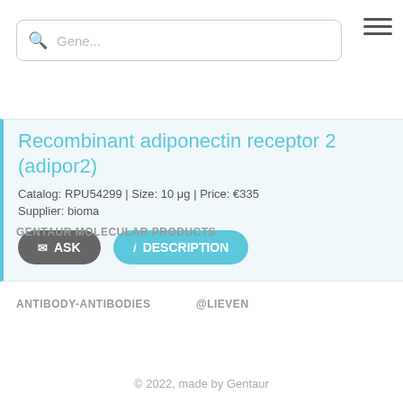Gene... (search bar placeholder)
Recombinant adiponectin receptor 2 (adipor2)
Catalog: RPU54299 | Size: 10 μg | Price: €335
Supplier: bioma
GENTAUR MOLECULAR PRODUCTS
ANTIBODY-ANTIBODIES
@LIEVEN
© 2022, made by Gentaur